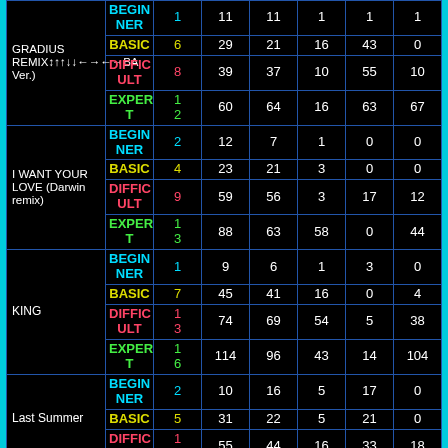| Song | Difficulty | Lv | Col3 | Col4 | Col5 | Col6 | Col7 |
| --- | --- | --- | --- | --- | --- | --- | --- |
| GRADIUS REMIX↕↑↑↓↓←→←→BA Ver.) | BEGINNER | 1 | 11 | 11 | 1 | 1 | 1 |
|  | BASIC | 6 | 29 | 21 | 16 | 43 | 0 |
|  | DIFFICULT | 8 | 39 | 37 | 10 | 55 | 10 |
|  | EXPERT | 12 | 60 | 64 | 16 | 63 | 67 |
| I WANT YOUR LOVE (Darwin remix) | BEGINNER | 2 | 12 | 7 | 1 | 0 | 0 |
|  | BASIC | 4 | 23 | 21 | 3 | 0 | 0 |
|  | DIFFICULT | 9 | 59 | 56 | 3 | 17 | 12 |
|  | EXPERT | 13 | 88 | 63 | 58 | 0 | 44 |
| KING | BEGINNER | 1 | 9 | 6 | 1 | 3 | 0 |
|  | BASIC | 7 | 45 | 41 | 16 | 0 | 4 |
|  | DIFFICULT | 13 | 74 | 69 | 54 | 5 | 38 |
|  | EXPERT | 16 | 114 | 96 | 43 | 14 | 104 |
| Last Summer | BEGINNER | 2 | 10 | 16 | 5 | 17 | 0 |
|  | BASIC | 5 | 31 | 22 | 5 | 21 | 0 |
|  | DIFFICULT | 10 | 55 | 44 | 16 | 33 | 18 |